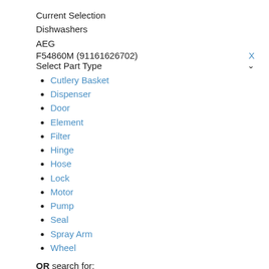Current Selection
Dishwashers
AEG
F54860M (91161626702)
Select Part Type
Cutlery Basket
Dispenser
Door
Element
Filter
Hinge
Hose
Lock
Motor
Pump
Seal
Spray Arm
Wheel
OR search for:
Search Part Type [input field] * Go [button]